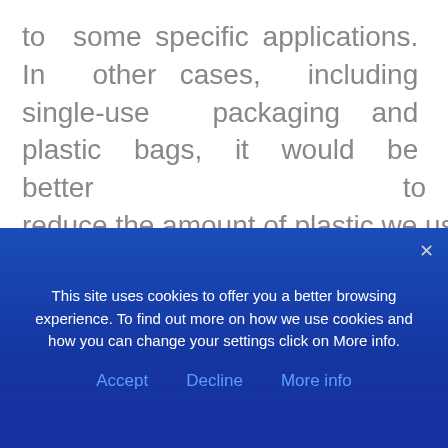to some specific applications. In other cases, including single-use packaging and plastic bags, it would be better to reduce the amount of plastic we use—or to re-use it, recycle it, or, where we can, compost it in industrial plants.

The SAPEA experts also stress that calling something 'biodegradable' does
This site uses cookies to offer you a better browsing experience. To find out more on how we use cookies and how you can change your settings click on More info.